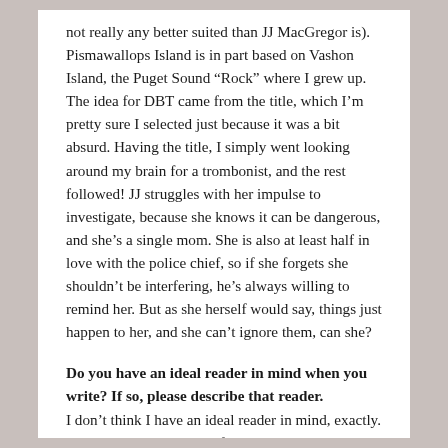not really any better suited than JJ MacGregor is). Pismawallops Island is in part based on Vashon Island, the Puget Sound “Rock” where I grew up. The idea for DBT came from the title, which I’m pretty sure I selected just because it was a bit absurd. Having the title, I simply went looking around my brain for a trombonist, and the rest followed! JJ struggles with her impulse to investigate, because she knows it can be dangerous, and she’s a single mom. She is also at least half in love with the police chief, so if she forgets she shouldn’t be interfering, he’s always willing to remind her. But as she herself would say, things just happen to her, and she can’t ignore them, can she?
Do you have an ideal reader in mind when you write? If so, please describe that reader. I don’t think I have an ideal reader in mind, exactly. I do keep a certain type of audience in mind, as much as anything to keep me from producing too faint a sense of situati…